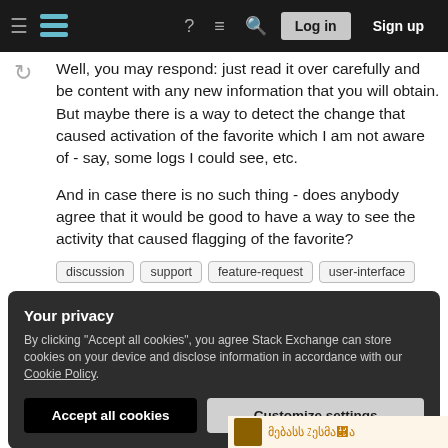Stack Exchange navigation bar with hamburger menu, logo, help, chat, search, Log in, Sign up
Well, you may respond: just read it over carefully and be content with any new information that you will obtain. But maybe there is a way to detect the change that caused activation of the favorite which I am not aware of - say, some logs I could see, etc.
And in case there is no such thing - does anybody agree that it would be good to have a way to see the activity that caused flagging of the favorite?
discussion
support
feature-request
user-interface
Your privacy
By clicking "Accept all cookies", you agree Stack Exchange can store cookies on your device and disclose information in accordance with our Cookie Policy.
Accept all cookies  Customize settings